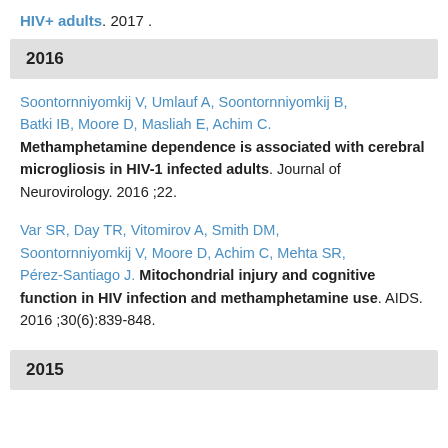HIV+ adults. 2017 .
2016
Soontornniyomkij V, Umlauf A, Soontornniyomkij B, Batki IB, Moore D, Masliah E, Achim C. Methamphetamine dependence is associated with cerebral microgliosis in HIV-1 infected adults. Journal of Neurovirology. 2016 ;22.
Var SR, Day TR, Vitomirov A, Smith DM, Soontornniyomkij V, Moore D, Achim C, Mehta SR, Pérez-Santiago J. Mitochondrial injury and cognitive function in HIV infection and methamphetamine use. AIDS. 2016 ;30(6):839-848.
2015